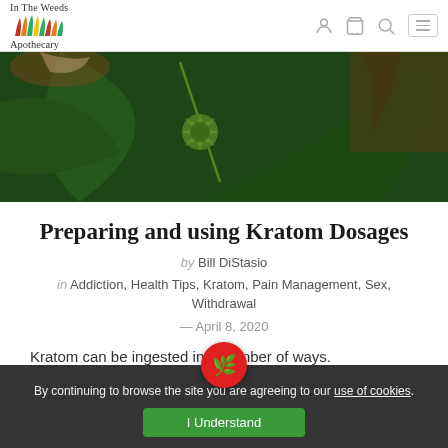In The Weeds Apothecary — navigation bar with logo and icons
[Figure (photo): Close-up photo of a green spiky kratom plant bud with large leaves, dark green background with plant material]
Preparing and using Kratom Dosages
by Bill DiStasio
in Addiction, Health Tips, Kratom, Pain Management, Sex, Withdrawal
— April 8, 2020
Kratom can be ingested in a number of ways.
By continuing to browse the site you are agreeing to our use of cookies. I Understand